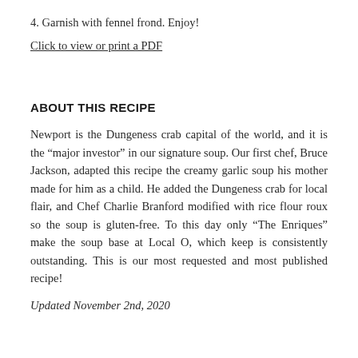4. Garnish with fennel frond. Enjoy!
Click to view or print a PDF
ABOUT THIS RECIPE
Newport is the Dungeness crab capital of the world, and it is the “major investor” in our signature soup.  Our first chef, Bruce Jackson, adapted this recipe the creamy garlic soup his mother made for him as a child.  He added the Dungeness crab for local flair, and Chef Charlie Branford modified with rice flour roux so the soup is gluten-free.  To this day only “The Enriques” make the soup base at Local O, which keep is consistently outstanding.  This is our most requested and most published recipe!
Updated November 2nd, 2020